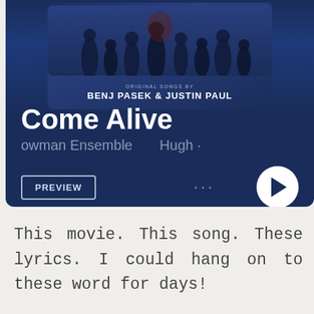[Figure (screenshot): Spotify-style music player card showing 'Come Alive' song with album art featuring silhouettes of performers and text 'ORIGINAL SONGS BY BENJ PASEK & JUSTIN PAUL'. Shows artist 'owman Ensemble Hugh', a PREVIEW button, three-dot menu, and play button on dark navy blue background.]
This movie. This song. These lyrics. I could hang on to these word for days!